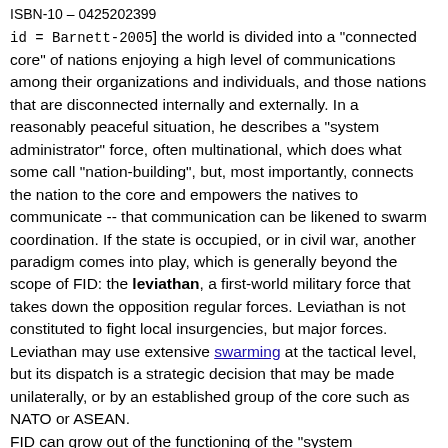ISBN-10 – 0425202399
id = Barnett-2005] the world is divided into a "connected core" of nations enjoying a high level of communications among their organizations and individuals, and those nations that are disconnected internally and externally. In a reasonably peaceful situation, he describes a "system administrator" force, often multinational, which does what some call "nation-building", but, most importantly, connects the nation to the core and empowers the natives to communicate -- that communication can be likened to swarm coordination. If the state is occupied, or in civil war, another paradigm comes into play, which is generally beyond the scope of FID: the leviathan, a first-world military force that takes down the opposition regular forces. Leviathan is not constituted to fight local insurgencies, but major forces. Leviathan may use extensive swarming at the tactical level, but its dispatch is a strategic decision that may be made unilaterally, or by an established group of the core such as NATO or ASEAN.
FID can grow out of the functioning of the "system administrator", be that a single dominant country (e.g., France in Chad), or with a multinational group such as ECOMOG, the military arm of the Economic Community of West African States (ECOWAS), in Sierra Leone. In the Sierra Leonian situation, the primary Leviathan was